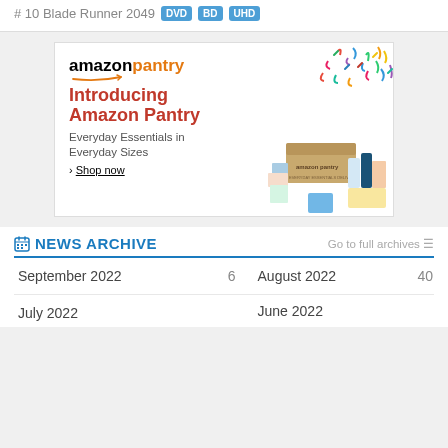# 10 Blade Runner 2049  DVD  BD  UHD
[Figure (photo): Amazon Pantry advertisement showing the Amazon Pantry logo, text 'Introducing Amazon Pantry - Everyday Essentials in Everyday Sizes' with a Shop now link, and a box of grocery/household products surrounded by various branded items with colorful confetti.]
NEWS ARCHIVE
Go to full archives
September 2022    6    August 2022    40
July 2022              June 2022